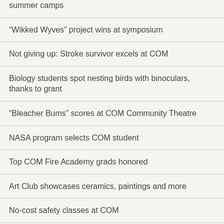summer camps
“Wikked Wyves” project wins at symposium
Not giving up: Stroke survivor excels at COM
Biology students spot nesting birds with binoculars, thanks to grant
“Bleacher Bums” scores at COM Community Theatre
NASA program selects COM student
Top COM Fire Academy grads honored
Art Club showcases ceramics, paintings and more
No-cost safety classes at COM